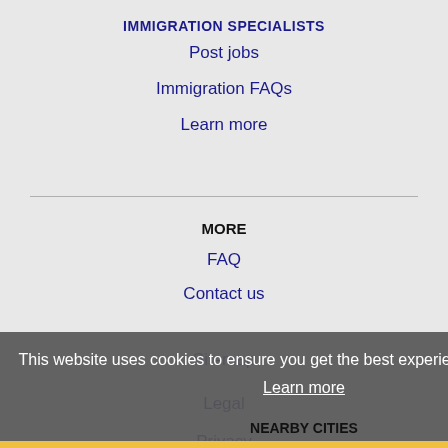IMMIGRATION SPECIALISTS
Post jobs
Immigration FAQs
Learn more
MORE
FAQ
Contact us
Sitemap
Legal
Privacy
This website uses cookies to ensure you get the best experience on our website.
Learn more
NEARBY CITIES
Got it!
View all locations